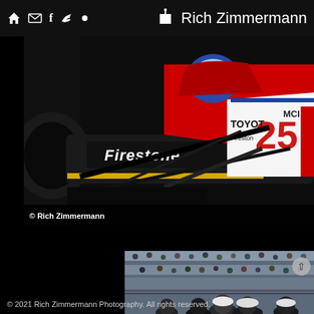Rich Zimmermann
[Figure (photo): Close-up photo of an IndyCar racing car with Firestone and Toyota branding, number 25. A driver in helmet visible in cockpit. Red, white, black and yellow livery.]
© Rich Zimmermann
[Figure (photo): Partial photo showing crowd of spectators in grandstands at a racing event, with people in foreground wearing white caps.]
© 2021 Rich Zimmermann Photography. All rights reserved.